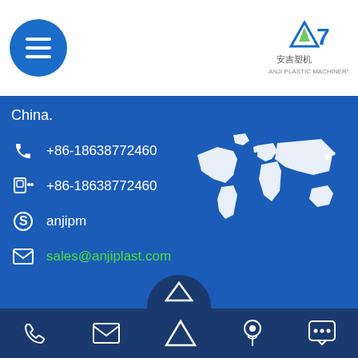[Figure (logo): Hamburger menu button (blue circle with three white lines) and Anji Plastic Machinery logo in top header]
China.
+86-18638772460
+86-18638772460
anjipm
sales@anjiplast.com
[Figure (map): White silhouette world map on blue background]
EMAIL NEWSLETTER
Your Email:
Your Email
Content:
[Figure (infographic): Bottom navigation bar with phone, email, home/up arrow, location pin, and chat icons on dark blue background]